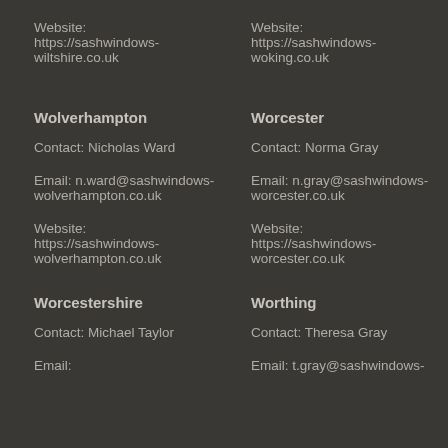Website: https://sashwindows-wiltshire.co.uk
Website: https://sashwindows-woking.co.uk
Wolverhampton
Worcester
Contact: Nicholas Ward
Contact: Norma Gray
Email: n.ward@sashwindows-wolverhampton.co.uk
Email: n.gray@sashwindows-worcester.co.uk
Website: https://sashwindows-wolverhampton.co.uk
Website: https://sashwindows-worcester.co.uk
Worcestershire
Worthing
Contact: Michael Taylor
Contact: Theresa Gray
Email:
Email: t.gray@sashwindows-